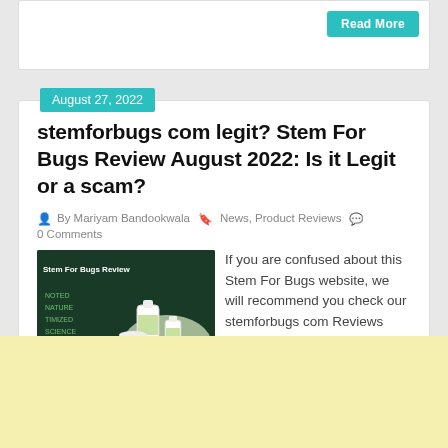Read More
August 27, 2022
stemforbugs com legit? Stem For Bugs Review August 2022: Is it Legit or a scam?
By Mariyam Bandookwala   News, Product Reviews   0 Comments
[Figure (photo): Stem For Bugs Review product image showing bottles on dark green background]
If you are confused about this Stem For Bugs website, we will recommend you check our stemforbugs com Reviews post, which will clear your confusion. Would you like to